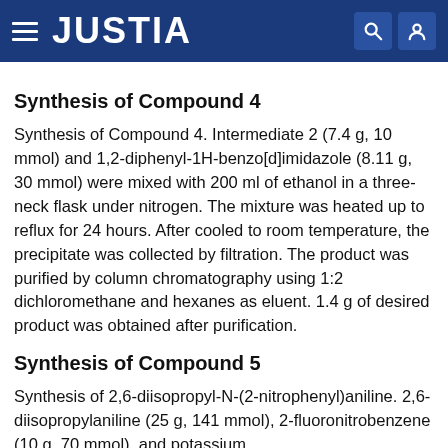JUSTIA
Synthesis of Compound 4
Synthesis of Compound 4. Intermediate 2 (7.4 g, 10 mmol) and 1,2-diphenyl-1H-benzo[d]imidazole (8.11 g, 30 mmol) were mixed with 200 ml of ethanol in a three-neck flask under nitrogen. The mixture was heated up to reflux for 24 hours. After cooled to room temperature, the precipitate was collected by filtration. The product was purified by column chromatography using 1:2 dichloromethane and hexanes as eluent. 1.4 g of desired product was obtained after purification.
Synthesis of Compound 5
Synthesis of 2,6-diisopropyl-N-(2-nitrophenyl)aniline. 2,6-diisopropylaniline (25 g, 141 mmol), 2-fluoronitrobenzene (10 g, 70 mmol), and potassium